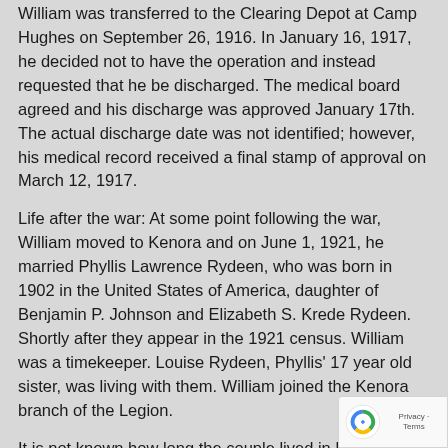William was transferred to the Clearing Depot at Camp Hughes on September 26, 1916. In January 16, 1917, he decided not to have the operation and instead requested that he be discharged. The medical board agreed and his discharge was approved January 17th. The actual discharge date was not identified; however, his medical record received a final stamp of approval on March 12, 1917.
Life after the war: At some point following the war, William moved to Kenora and on June 1, 1921, he married Phyllis Lawrence Rydeen, who was born in 1902 in the United States of America, daughter of Benjamin P. Johnson and Elizabeth S. Krede Rydeen. Shortly after they appear in the 1921 census. William was a timekeeper. Louise Rydeen, Phyllis' 17 year old sister, was living with them. William joined the Kenora branch of the Legion.
It is not known how long the couple lived in Kenora, family members are recorded in British Columbia,